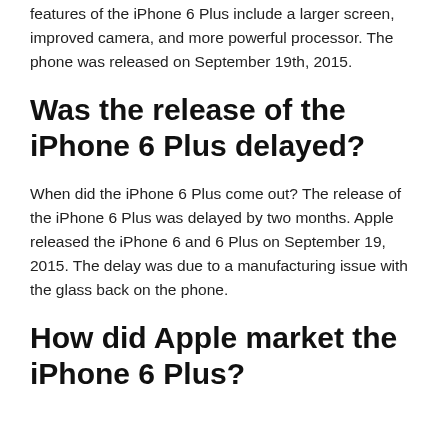features of the iPhone 6 Plus include a larger screen, improved camera, and more powerful processor. The phone was released on September 19th, 2015.
Was the release of the iPhone 6 Plus delayed?
When did the iPhone 6 Plus come out? The release of the iPhone 6 Plus was delayed by two months. Apple released the iPhone 6 and 6 Plus on September 19, 2015. The delay was due to a manufacturing issue with the glass back on the phone.
How did Apple market the iPhone 6 Plus?